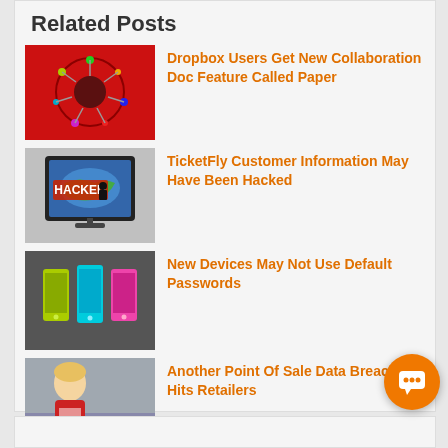Related Posts
Dropbox Users Get New Collaboration Doc Feature Called Paper
TicketFly Customer Information May Have Been Hacked
New Devices May Not Use Default Passwords
Another Point Of Sale Data Breach Hits Retailers
Hackers Now Can Access Data In Secure PDF Files